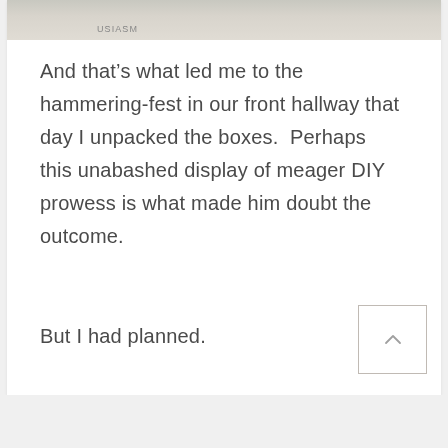[Figure (photo): Partial image strip at the top of the content card, appears to show a shelf or storage area, with the text 'USIASM' partially visible]
And that’s what led me to the hammering-fest in our front hallway that day I unpacked the boxes.  Perhaps this unabashed display of meager DIY prowess is what made him doubt the outcome.
But I had planned.